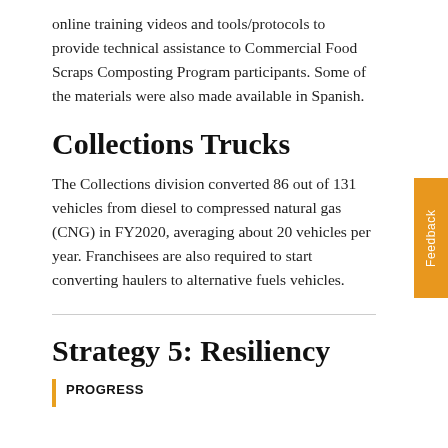online training videos and tools/protocols to provide technical assistance to Commercial Food Scraps Composting Program participants. Some of the materials were also made available in Spanish.
Collections Trucks
The Collections division converted 86 out of 131 vehicles from diesel to compressed natural gas (CNG) in FY2020, averaging about 20 vehicles per year. Franchisees are also required to start converting haulers to alternative fuels vehicles.
Strategy 5: Resiliency
PROGRESS